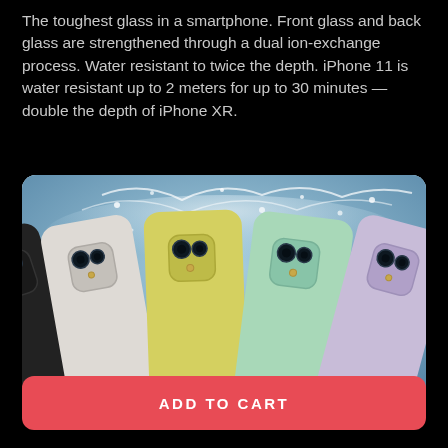The toughest glass in a smartphone. Front glass and back glass are strengthened through a dual ion-exchange process. Water resistant to twice the depth. iPhone 11 is water resistant up to 2 meters for up to 30 minutes — double the depth of iPhone XR.
[Figure (photo): Multiple iPhone 11 devices in different colors (black, white, yellow, mint green, lavender) shown from the back with their dual-camera systems visible, surrounded by water splashes on a blue-gray background.]
ADD TO CART